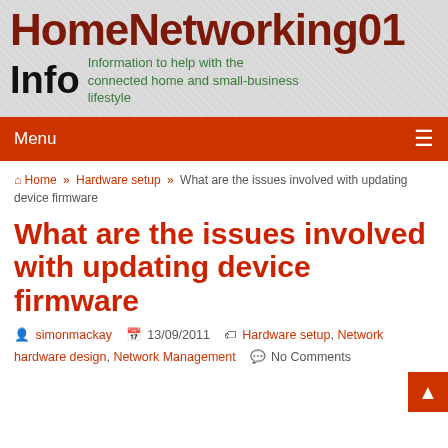HomeNetworking01
Info
Information to help with the connected home and small-business lifestyle
Menu
Home » Hardware setup » What are the issues involved with updating device firmware
What are the issues involved with updating device firmware
simonmackay   13/09/2011   Hardware setup, Network hardware design, Network Management   No Comments